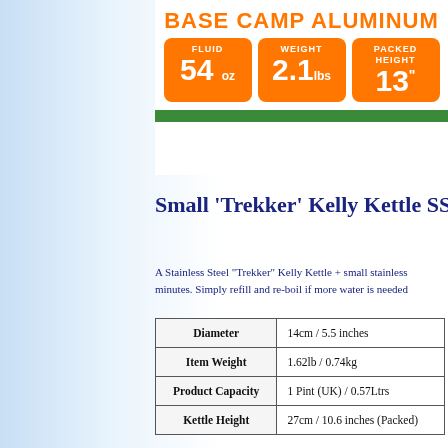[Figure (infographic): Base Camp Aluminum product specs infographic with orange boxes showing FLUID 54oz, WEIGHT 2.1lbs, PACKED HEIGHT 13 inches]
Small 'Trekker' Kelly Kettle SS
A Stainless Steel "Trekker" Kelly Kettle + small stainless minutes. Simply refill and re-boil if more water is needed
|  |  |
| --- | --- |
| Diameter | 14cm / 5.5 inches |
| Item Weight | 1.62lb / 0.74kg |
| Product Capacity | 1 Pint (UK) / 0.57Ltrs |
| Kettle Height | 27cm / 10.6 inches (Packed) |